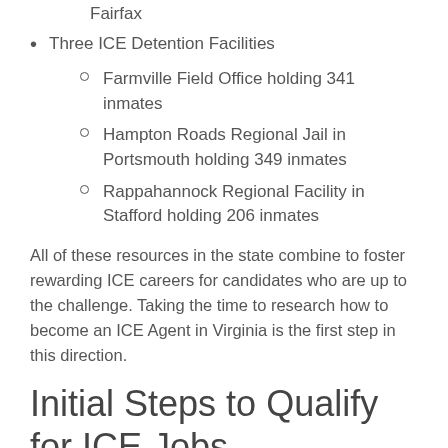Fairfax
Three ICE Detention Facilities
Farmville Field Office holding 341 inmates
Hampton Roads Regional Jail in Portsmouth holding 349 inmates
Rappahannock Regional Facility in Stafford holding 206 inmates
All of these resources in the state combine to foster rewarding ICE careers for candidates who are up to the challenge. Taking the time to research how to become an ICE Agent in Virginia is the first step in this direction.
Initial Steps to Qualify for ICE Jobs
In addition to meeting initial qualifications like being a